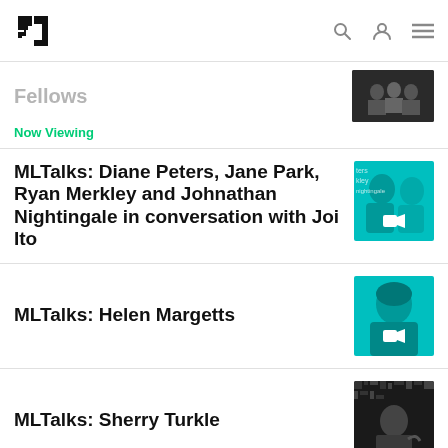MIT Media Lab logo, search, profile, menu
Fellows
Now Viewing
MLTalks: Diane Peters, Jane Park, Ryan Merkley and Johnathan Nightingale in conversation with Joi Ito
MLTalks: Helen Margetts
MLTalks: Sherry Turkle